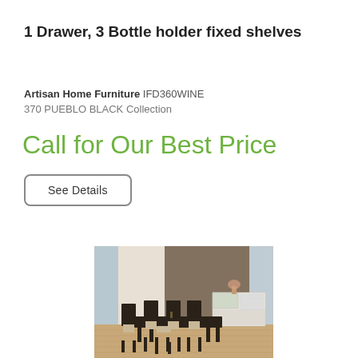1 Drawer, 3 Bottle holder fixed shelves
Artisan Home Furniture IFD360WINE
370 PUEBLO BLACK Collection
Call for Our Best Price
See Details
[Figure (photo): Dining room scene showing a dark wood dining table with six chairs on a light hardwood floor, with a white sideboard/wine cabinet in the background against a textured grey wall, with windows on both sides.]